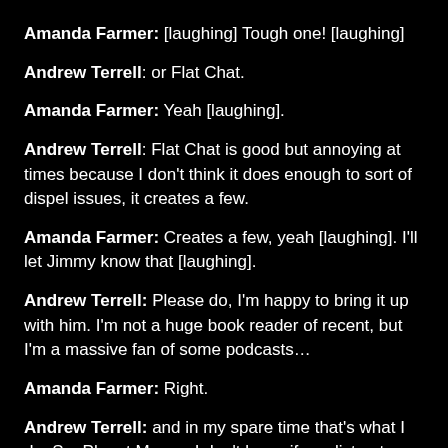Amanda Farmer: [laughing] Tough one! [laughing]
Andrew Terrell: or Flat Chat.
Amanda Farmer: Yeah [laughing].
Andrew Terrell: Flat Chat is good but annoying at times because I don't think it does enough to sort of dispel issues, it creates a few.
Amanda Farmer: Creates a few, yeah [laughing]. I'll let Jimmy know that [laughing].
Andrew Terrell: Please do, I'm happy to bring it up with him. I'm not a huge book reader of recent, but I'm a massive fan of some podcasts…
Amanda Farmer: Right.
Andrew Terrell: and in my spare time that's what I do. So, Planet Money, I don't know if you listen to that, but that's